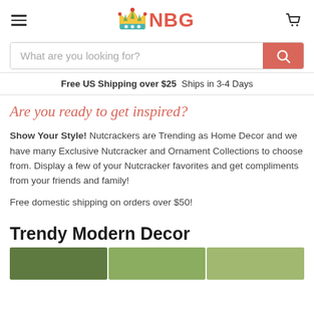NBG – navigation bar with hamburger menu, logo, and cart icon
What are you looking for?
Free US Shipping over $25  Ships in 3-4 Days
Are you ready to get inspired?
Show Your Style! Nutcrackers are Trending as Home Decor and we have many Exclusive Nutcracker and Ornament Collections to choose from. Display a few of your Nutcracker favorites and get compliments from your friends and family!
Free domestic shipping on orders over $50!
Trendy Modern Decor
[Figure (photo): Partial product images of nutcracker/holiday decor items at bottom of page]